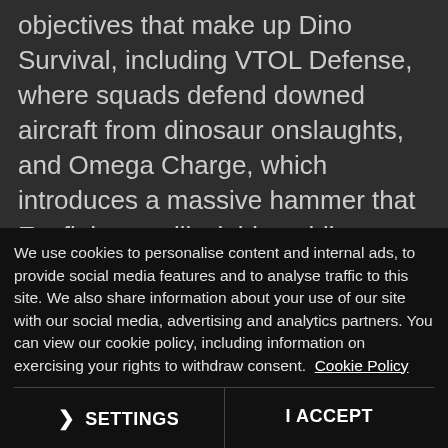objectives that make up Dino Survival, including VTOL Defense, where squads defend downed aircraft from dinosaur onslaughts, and Omega Charge, which introduces a massive hammer that Exofighters will wield to obliterate targets.
We also unveiled two new Assault class Exosuits that are absolutely armed to the
We use cookies to personalise content and internal ads, to provide social media features and to analyse traffic to this site. We also share information about your use of our site with our social media, advertising and analytics partners. You can view our cookie policy, including information on exercising your rights to withdraw consent. Cookie Policy
❯ SETTINGS
I ACCEPT
While many situations w... put you against...